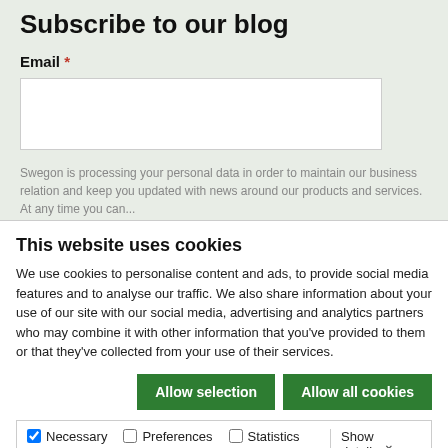Subscribe to our blog
Email *
Swegon is processing your personal data in order to maintain our business relation and keep you updated with news around our products and services. At any time you can...
This website uses cookies
We use cookies to personalise content and ads, to provide social media features and to analyse our traffic. We also share information about your use of our site with our social media, advertising and analytics partners who may combine it with other information that you've provided to them or that they've collected from your use of their services.
Allow selection | Allow all cookies
Necessary  Preferences  Statistics  Marketing  Show details